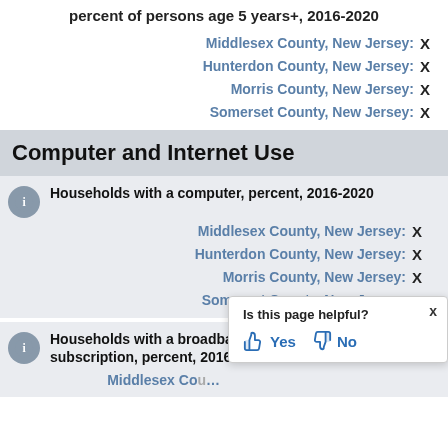percent of persons age 5 years+, 2016-2020
Middlesex County, New Jersey: X
Hunterdon County, New Jersey: X
Morris County, New Jersey: X
Somerset County, New Jersey: X
Computer and Internet Use
Households with a computer, percent, 2016-2020
Middlesex County, New Jersey: X
Hunterdon County, New Jersey: X
Morris County, New Jersey: X
Somerset County, New Jersey: X
Households with a broadband internet subscription, percent, 2016-2020
Middlesex County: X